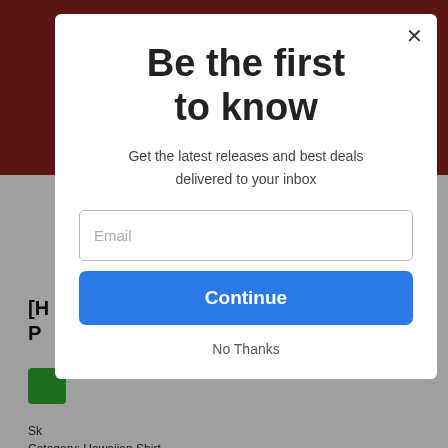[Figure (screenshot): Website product page background partially visible behind a modal popup, showing a dark red/maroon header area, a product title partially cut off reading '[H... P...', a green button, and text 'Sk...' and 'Category: Hawaiian Shirt' at the bottom.]
Be the first to know
Get the latest releases and best deals delivered to your inbox
Email
Continue
No Thanks